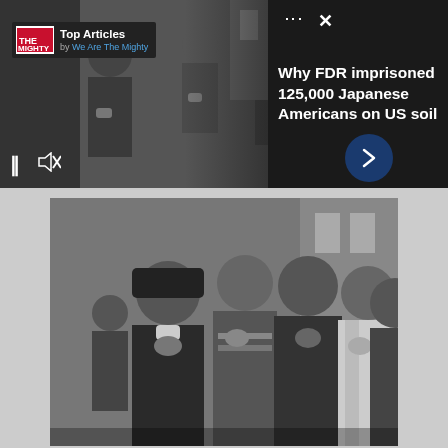[Figure (photo): Screenshot of a web article preview widget showing a black-and-white historical photo of Japanese American children with hands over hearts (Pledge of Allegiance). Top section shows a slideshow player with 'Top Articles by We Are The Mighty' badge, pause and mute controls, a dark navy arrow button, and a close X. Right panel shows article title 'Why FDR imprisoned 125,000 Japanese Americans on US soil'. Bottom section shows the same historical photograph enlarged.]
Why FDR imprisoned 125,000 Japanese Americans on US soil
Top Articles by We Are The Mighty